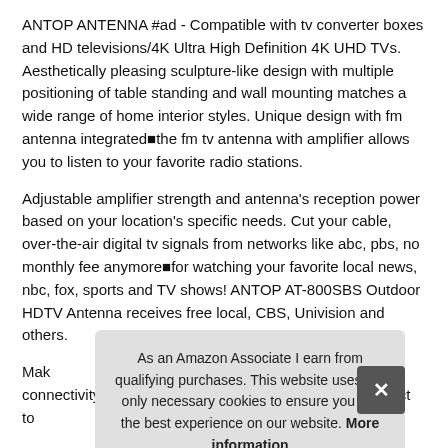ANTOP ANTENNA #ad - Compatible with tv converter boxes and HD televisions/4K Ultra High Definition 4K UHD TVs. Aesthetically pleasing sculpture-like design with multiple positioning of table standing and wall mounting matches a wide range of home interior styles. Unique design with fm antenna integrated the fm tv antenna with amplifier allows you to listen to your favorite radio stations.
Adjustable amplifier strength and antenna's reception power based on your location's specific needs. Cut your cable, over-the-air digital tv signals from networks like abc, pbs, no monthly fee anymore for watching your favorite local news, nbc, fox, sports and TV shows! ANTOP AT-800SBS Outdoor HDTV Antenna receives free local, CBS, Univision and others.
Mak... connectivity the attic outdoor tv antenna allows to connect to
As an Amazon Associate I earn from qualifying purchases. This website uses the only necessary cookies to ensure you get the best experience on our website. More information